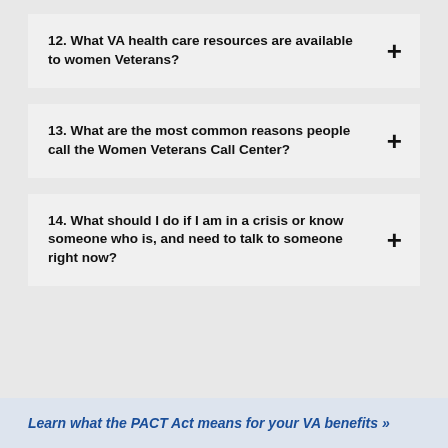12. What VA health care resources are available to women Veterans?
13. What are the most common reasons people call the Women Veterans Call Center?
14. What should I do if I am in a crisis or know someone who is, and need to talk to someone right now?
Learn what the PACT Act means for your VA benefits »